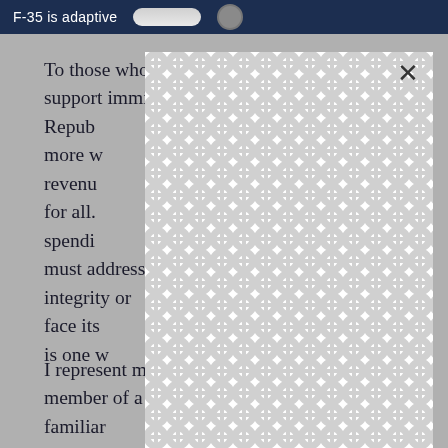[Figure (screenshot): Dark navy blue banner showing partial text 'F-35 is adaptive' with a pill-shaped button and circular icon on the right side]
To those who think Republicans cannot support immig... Repub... onate more w... ase revenu... ness for all. ... and spendi... ve must a... rity or face its... form is one w...
[Figure (other): White modal dialog box with patterned background (interlocking circles/links pattern in light gray) overlaying the text. Has an X close button in the upper right corner.]
I represent many Latino families, and as a member of a Latino family myself, I am familiar